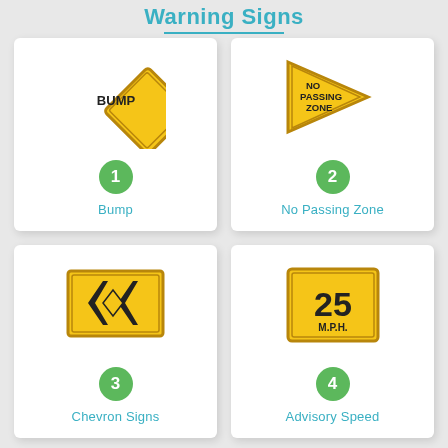Warning Signs
[Figure (illustration): Yellow diamond-shaped BUMP warning sign]
Bump
[Figure (illustration): Yellow triangular No Passing Zone warning sign]
No Passing Zone
[Figure (illustration): Yellow rectangular Chevron Signs warning sign with black chevron arrows]
Chevron Signs
[Figure (illustration): Yellow square Advisory Speed warning sign showing 25 M.P.H.]
Advisory Speed